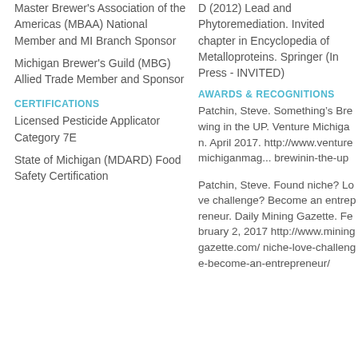Master Brewer's Association of the Americas (MBAA) National Member and MI Branch Sponsor
Michigan Brewer's Guild (MBG) Allied Trade Member and Sponsor
CERTIFICATIONS
Licensed Pesticide Applicator Category 7E
State of Michigan (MDARD) Food Safety Certification
D (2012) Lead and Phytoremediation. Invited chapter in Encyclopedia of Metalloproteins. Springer (In Press - INVITED)
AWARDS & RECOGNITIONS
Patchin, Steve. Something’s Brewing in the UP. Venture Michigan. April 2017. http://www.venturemichiganmag... brewinin-the-up
Patchin, Steve. Found niche? Love challenge? Become an entrepreneur. Daily Mining Gazette. February 2, 2017 http://www.mininggazette.com/ niche-love-challenge-become-an-entrepreneur/